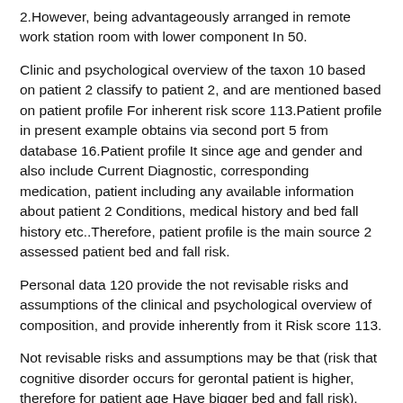2.However, being advantageously arranged in remote work station room with lower component In 50.
Clinic and psychological overview of the taxon 10 based on patient 2 classify to patient 2, and are mentioned based on patient profile For inherent risk score 113.Patient profile in present example obtains via second port 5 from database 16.Patient profile It since age and gender and also include Current Diagnostic, corresponding medication, patient including any available information about patient 2 Conditions, medical history and bed fall history etc..Therefore, patient profile is the main source 2 assessed patient bed and fall risk.
Personal data 120 provide the not revisable risks and assumptions of the clinical and psychological overview of composition, and provide inherently from it Risk score 113.
Not revisable risks and assumptions may be that (risk that cognitive disorder occurs for gerontal patient is higher, therefore for patient age Have bigger bed and fall risk), (male patient seems there is higher accident occurrence risk to Gender, it may be possible to due to more Receive